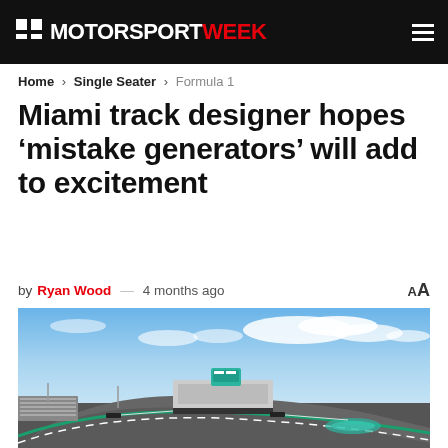MOTORSPORTWEEK
Home > Single Seater > Formula 1
Miami track designer hopes ‘mistake generators’ will add to excitement
by Ryan Wood — 4 months ago
[Figure (photo): Aerial/wide-angle view of the Miami International Autodrome racetrack with grandstands, pit lane, and a teal/turquoise pool complex visible; blue sky with clouds in the background.]